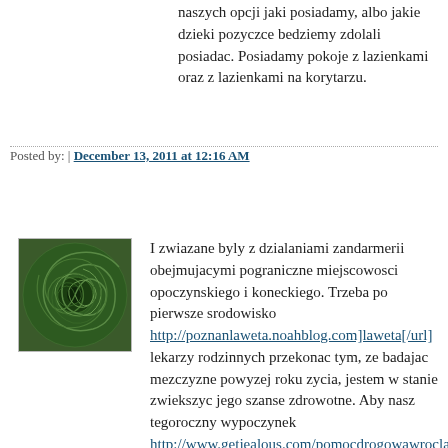naszych opcji jaki posiadamy, albo jakie dzieki pozyczce bedziemy zdolali posiadac. Posiadamy pokoje z lazienkami oraz z lazienkami na korytarzu.
Posted by: | December 13, 2011 at 12:16 AM
[Figure (illustration): Green spiral swirl avatar image]
I zwiazane byly z dzialaniami zandarmerii obejmujacymi pograniczne miejscowosci opoczynskiego i koneckiego. Trzeba po pierwsze srodowisko [url=http://poznanlaweta.noahblog.com]laweta[/url] lekarzy rodzinnych przekonac tym, ze badajac mezczyzne powyzej roku zycia, jestem w stanie zwiekszyc jego szanse zdrowotne. Aby nasz tegoroczny wypoczynek [url=http://www.getjealous.com/pomocdrogowawrocla pomoc drogowa[/url] nad morzem na dlugo pozostal nam w pamieci, warto zaczac przygotowania do niego odpowiednio wczesniej. Mogli by mnie oddac mandat za zle parkowanie, przyklad idzie z hihihi. Nic tak dobrze nie potrafi wyciszyc jak serwowany na pasta party makaron. Kolei Style sciaga milosnikow szeroko pojetej kultury hopowej z calej